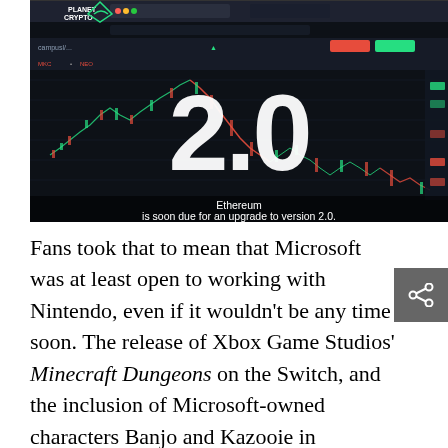[Figure (screenshot): Screenshot of a cryptocurrency trading chart on a laptop/monitor screen showing a candlestick chart with red and green candles, overlaid with large white text '2.0' and caption text 'Ethereum is soon due for an upgrade to version 2.0.' A Planet Crypto logo is visible in the top-left corner.]
Fans took that to mean that Microsoft was at least open to working with Nintendo, even if it wouldn't be any time soon. The release of Xbox Game Studios' Minecraft Dungeons on the Switch, and the inclusion of Microsoft-owned characters Banjo and Kazooie in Nintendo's Super Smash